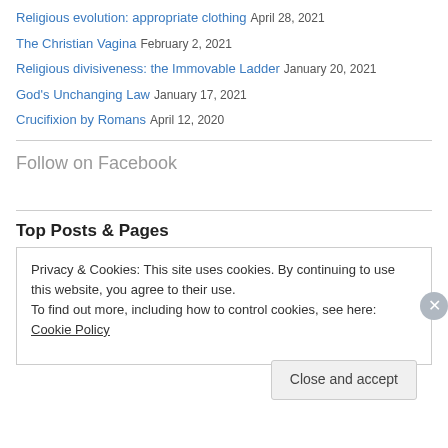Religious evolution: appropriate clothing  April 28, 2021
The Christian Vagina  February 2, 2021
Religious divisiveness: the Immovable Ladder  January 20, 2021
God's Unchanging Law  January 17, 2021
Crucifixion by Romans  April 12, 2020
Follow on Facebook
Top Posts & Pages
Privacy & Cookies: This site uses cookies. By continuing to use this website, you agree to their use.
To find out more, including how to control cookies, see here: Cookie Policy